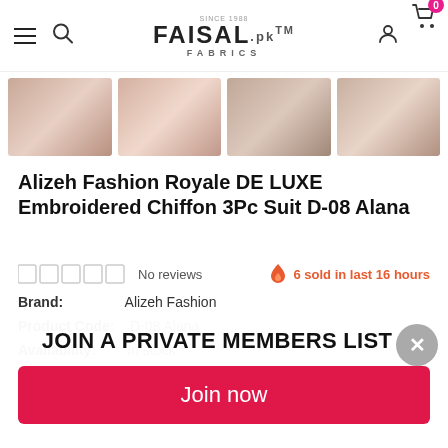Faisal Fabrics navigation bar with hamburger menu, search, logo, user icon, and cart (0)
[Figure (photo): Four thumbnail photos of pink/rose embroidered chiffon suit fabric displayed in a horizontal strip]
Alizeh Fashion Royale DE LUXE Embroidered Chiffon 3Pc Suit D-08 Alana
☆☆☆☆☆  No reviews   🔥 6 sold in last 16 hours
Brand: Alizeh Fashion
Product Code: D-08 Alana
Availability: In stock
Product Type: Women's Unstitched Clothing
JOIN A PRIVATE MEMBERS LIST !
Join now